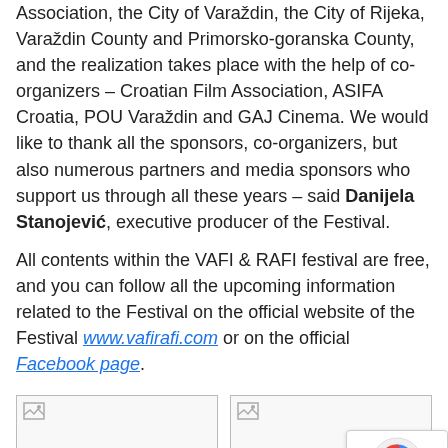Association, the City of Varaždin, the City of Rijeka, Varaždin County and Primorsko-goranska County, and the realization takes place with the help of co-organizers – Croatian Film Association, ASIFA Croatia, POU Varaždin and GAJ Cinema. We would like to thank all the sponsors, co-organizers, but also numerous partners and media sponsors who support us through all these years – said Danijela Stanojević, executive producer of the Festival.
All contents within the VAFI & RAFI festival are free, and you can follow all the upcoming information related to the Festival on the official website of the Festival www.vafirafi.com or on the official Facebook page.
[Figure (photo): Placeholder image (broken image icon) - left photo]
[Figure (photo): Placeholder image (broken image icon) - right photo]